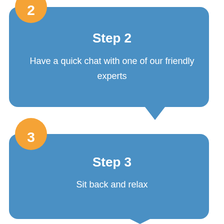[Figure (infographic): Two speech bubble steps infographic. Step 2 (orange circle badge with '2') in a blue rounded speech bubble pointing bottom-right: 'Step 2 - Have a quick chat with one of our friendly experts'. Step 3 (orange circle badge with '3') in a blue rounded speech bubble pointing bottom-right: 'Step 3 - Sit back and relax'.]